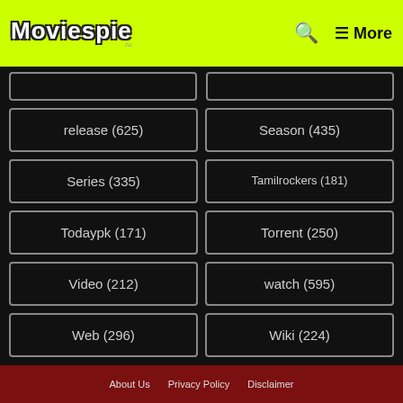Moviespie — More
release (625)
Season (435)
Series (335)
Tamilrockers (181)
Todaypk (171)
Torrent (250)
Video (212)
watch (595)
Web (296)
Wiki (224)
About Us  Privacy Policy  Disclaimer